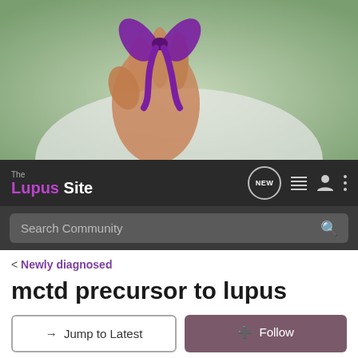[Figure (photo): Hand holding a purple lupus awareness ribbon, blurred green background]
The Lupus Site — navigation bar with NEW, list, user, and menu icons, plus Search Community input
< Newly diagnosed
mctd precursor to lupus
→ Jump to Latest   + Follow
1 - 4 of 4 Posts
shmom · Registered
Joined Mar 19, 2008 · 2 Posts